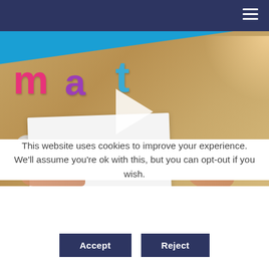Navigation menu
[Figure (photo): Overhead view of a child's hands writing on a whiteboard with colorful foam letters spelling 'mat' on a blue strip, small colorful toy balls on a wooden table, with a play button overlay indicating a video.]
This website uses cookies to improve your experience. We'll assume you're ok with this, but you can opt-out if you wish.
Accept
Reject